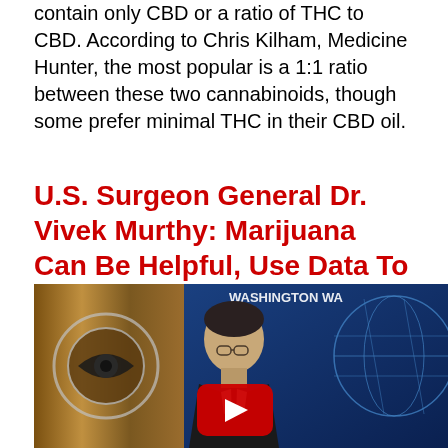contain only CBD or a ratio of THC to CBD. According to Chris Kilham, Medicine Hunter, the most popular is a 1:1 ratio between these two cannabinoids, though some prefer minimal THC in their CBD oil.
U.S. Surgeon General Dr. Vivek Murthy: Marijuana Can Be Helpful, Use Data To Drive Policy Making
[Figure (screenshot): Video thumbnail showing U.S. Surgeon General Dr. Vivek Murthy in front of a CBS logo on the left and a Washington D.C. news backdrop with a globe graphic on the right. A YouTube play button overlay is visible in the center.]